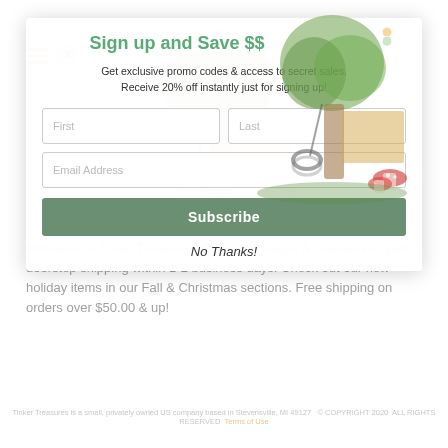[Figure (illustration): Tinker Treasures logo with tree house, tire swing, mushrooms, and fairy]
Sign up and Save $$
Get exclusive promo codes & access to secret sales.
Receive 20% off instantly just for signing up!
First | Last (input fields)
Email Address (input field)
Subscribe (button)
No Thanks!
Welcome to Tinker Treasures! Delivering magic & cuteness to your doorstep shipping within 1-2 business days. Check out our new holiday items in our Fall & Christmas sections. Free shipping on orders over $50.00 & up!
Tinker Treasures is a small, privately owned US company based in Stevensville, MI 49127   © COPYRIGHT 2020  ALL RIGHTS RESERVED  Terms of Use